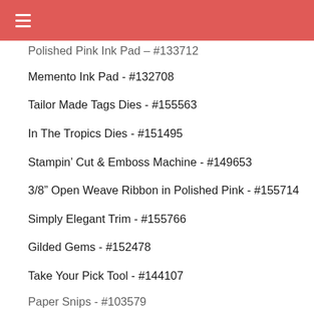☰ (navigation header)
Polished Pink Ink Pad - #133712 (partial, cut off at top)
Memento Ink Pad - #132708
Tailor Made Tags Dies - #155563
In The Tropics Dies - #151495
Stampin' Cut & Emboss Machine - #149653
3/8" Open Weave Ribbon in Polished Pink - #155714
Simply Elegant Trim - #155766
Gilded Gems - #152478
Take Your Pick Tool - #144107
Paper Snips - #103579 (partial, cut off at bottom)